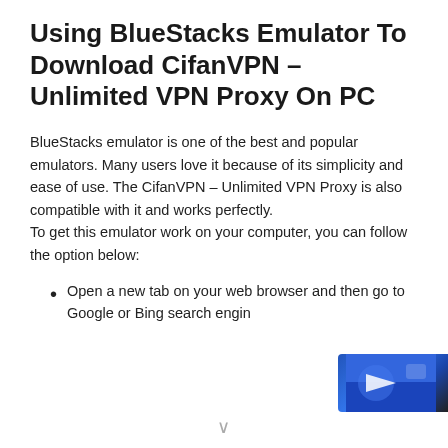Using BlueStacks Emulator To Download CifanVPN – Unlimited VPN Proxy On PC
BlueStacks emulator is one of the best and popular emulators. Many users love it because of its simplicity and ease of use. The CifanVPN – Unlimited VPN Proxy is also compatible with it and works perfectly.
To get this emulator work on your computer, you can follow the option below:
Open a new tab on your web browser and then go to Google or Bing search engin...
[Figure (photo): Partial image of a hand or cursor icon visible at bottom-right corner, overlapping the list item text.]